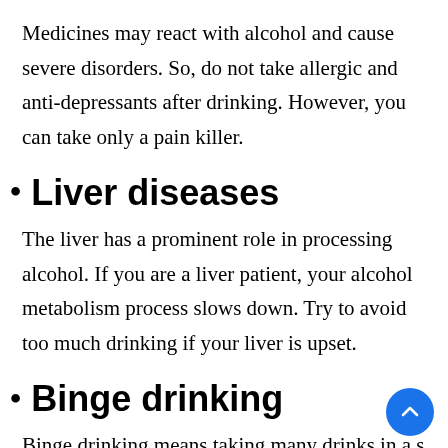Medicines may react with alcohol and cause severe disorders. So, do not take allergic and anti-depressants after drinking. However, you can take only a pain killer.
Liver diseases
The liver has a prominent role in processing alcohol. If you are a liver patient, your alcohol metabolism process slows down. Try to avoid too much drinking if your liver is upset.
Binge drinking
Binge drinking means taking many drinks in a short period. It is repetition for the time which t...